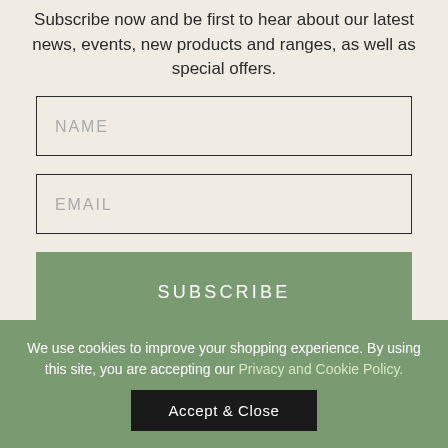Subscribe now and be first to hear about our latest news, events, new products and ranges, as well as special offers.
NAME
EMAIL
SUBSCRIBE
We use cookies to improve your shopping experience. By using this site, you are accepting our Privacy and Cookie Policy.
Accept & Close